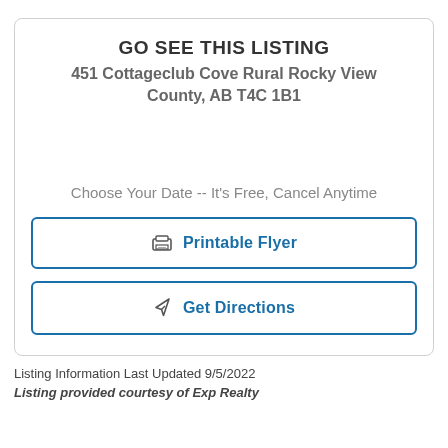GO SEE THIS LISTING
451 Cottageclub Cove Rural Rocky View County, AB T4C 1B1
Choose Your Date -- It's Free, Cancel Anytime
Printable Flyer
Get Directions
Listing Information Last Updated 9/5/2022
Listing provided courtesy of Exp Realty